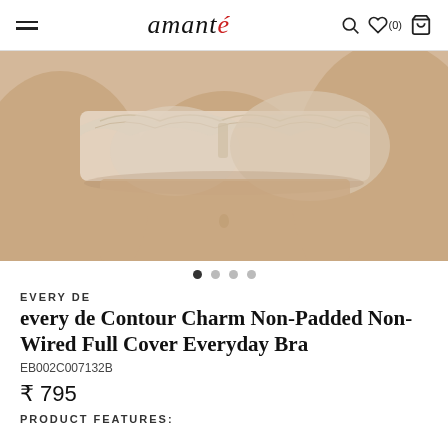amanté
[Figure (photo): Close-up product photo of a beige/nude strapless bra with lace detailing at the top, worn on a model, cropped to show the torso area. Product image carousel.]
EVERY DE
every de Contour Charm Non-Padded Non-Wired Full Cover Everyday Bra
EB002C007132B
₹ 795
PRODUCT FEATURES: